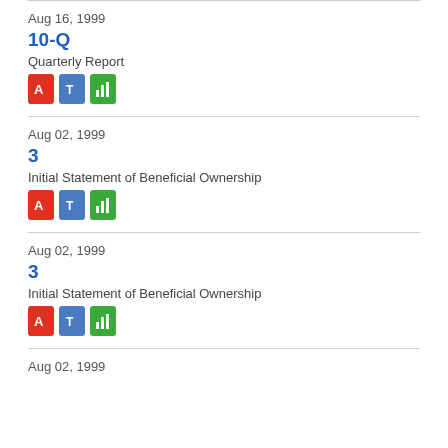Aug 16, 1999
10-Q
Quarterly Report
[Figure (other): Three file type icons: PDF (red), Text (blue), Chart (green)]
Aug 02, 1999
3
Initial Statement of Beneficial Ownership
[Figure (other): Three file type icons: PDF (red), Text (blue), Chart (green)]
Aug 02, 1999
3
Initial Statement of Beneficial Ownership
[Figure (other): Three file type icons: PDF (red), Text (blue), Chart (green)]
Aug 02, 1999